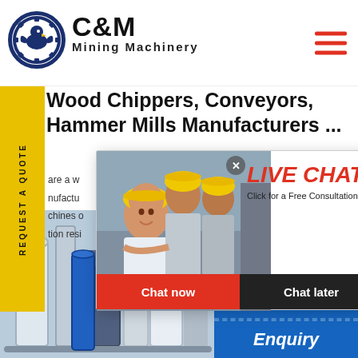[Figure (logo): C&M Mining Machinery logo with eagle gear emblem]
Wood Chippers, Conveyors, Hammer Mills Manufacturers ...
are a well-established manufacturer of machines of tion resistant
[Figure (photo): Live Chat popup with workers in yellow hard hats and chat now / chat later buttons]
[Figure (photo): Customer service representative with headset - Click to Chat]
[Figure (photo): Industrial machinery equipment background image]